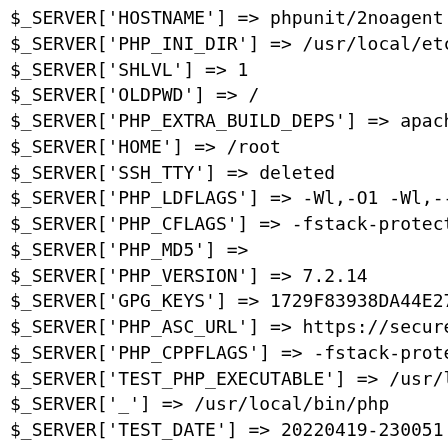$_SERVER['HOSTNAME'] => phpunit/2noagent
$_SERVER['PHP_INI_DIR'] => /usr/local/etc/p
$_SERVER['SHLVL'] => 1
$_SERVER['OLDPWD'] => /
$_SERVER['PHP_EXTRA_BUILD_DEPS'] => apache2
$_SERVER['HOME'] => /root
$_SERVER['SSH_TTY'] => deleted
$_SERVER['PHP_LDFLAGS'] => -Wl,-O1 -Wl,--ha
$_SERVER['PHP_CFLAGS'] => -fstack-protector
$_SERVER['PHP_MD5'] =>
$_SERVER['PHP_VERSION'] => 7.2.14
$_SERVER['GPG_KEYS'] => 1729F83938DA44E27BA
$_SERVER['PHP_ASC_URL'] => https://secure.p
$_SERVER['PHP_CPPFLAGS'] => -fstack-protect
$_SERVER['TEST_PHP_EXECUTABLE'] => /usr/loc
$_SERVER['_'] => /usr/local/bin/php
$_SERVER['TEST_DATE'] => 20220419-230051
$_SERVER['PHP_URL'] => https://secure.php.n
$_SERVER['PATH'] => /usr/local/sbin:/usr/lo